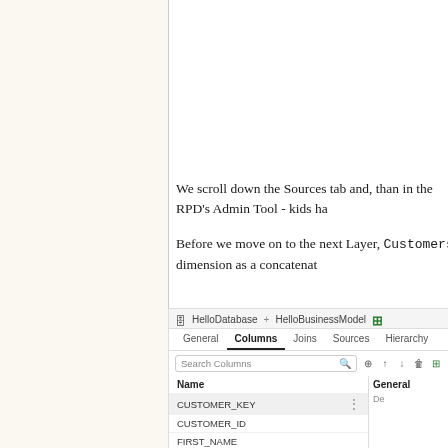We scroll down the Sources tab and, than in the RPD's Admin Tool - kids ha
Before we move on to the next Layer, Customers dimension as a concatenat
[Figure (screenshot): Screenshot of OBIEE Admin Tool showing HelloDatabase and HelloBusinessModel tabs with Columns tab active. A list of columns is shown: CUSTOMER_KEY (selected), CUSTOMER_ID, FIRST_NAME, INITIALS, LAST_NAME, GREETING. A General panel is visible on the right side.]